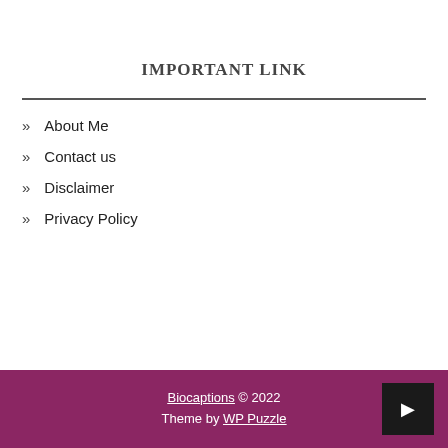IMPORTANT LINK
» About Me
» Contact us
» Disclaimer
» Privacy Policy
Biocaptions © 2022 Theme by WP Puzzle